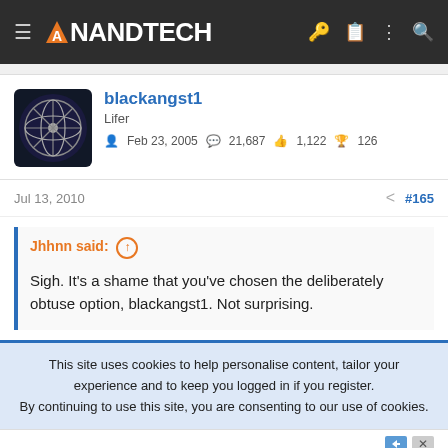AnandTech
blackangst1
Lifer
Feb 23, 2005  21,687  1,122  126
Jul 13, 2010  #165
Jhhnn said: ↑

Sigh. It's a shame that you've chosen the deliberately obtuse option, blackangst1. Not surprising.
This site uses cookies to help personalise content, tailor your experience and to keep you logged in if you register.
By continuing to use this site, you are consenting to our use of cookies.
Carbon Tax Cost
A carbon tax is generally seen as a cost-effective